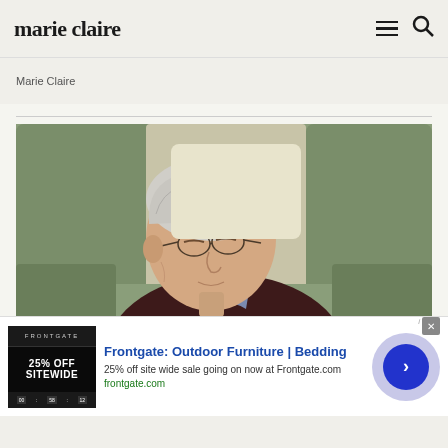marie claire
Marie Claire
[Figure (photo): Elderly man with white hair and glasses sleeping in a green wingback armchair with arms crossed, wearing a dark maroon knit sweater over a plaid shirt]
[Figure (infographic): Advertisement for Frontgate: Outdoor Furniture | Bedding. Shows '25% OFF SITEWIDE' in white text on black background with countdown timer. Ad text: '25% off site wide sale going on now at Frontgate.com' and 'frontgate.com'. Includes a blue circle arrow button.]